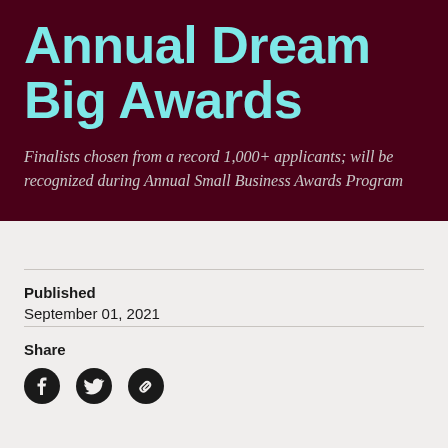Annual Dream Big Awards
Finalists chosen from a record 1,000+ applicants; will be recognized during Annual Small Business Awards Program
Published
September 01, 2021
Share